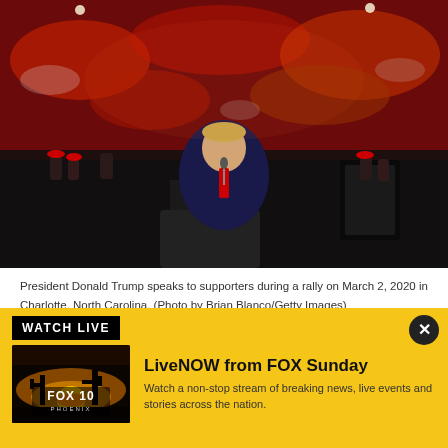[Figure (photo): President Donald Trump speaks at a podium/microphone at a rally, with a large crowd of supporters in red hats filling the arena behind him.]
President Donald Trump speaks to supporters during a rally on March 2, 2020 in Charlotte, North Carolina. (Photo by Brian Blanco/Getty Images)
WHAT MAKES THE RALLY HIGH…
[Figure (screenshot): Watch Live banner: LiveNOW from FOX Sunday – Watch a non-stop stream of breaking news, live events and stories across the nation. FOX 10 Phoenix thumbnail on yellow background.]